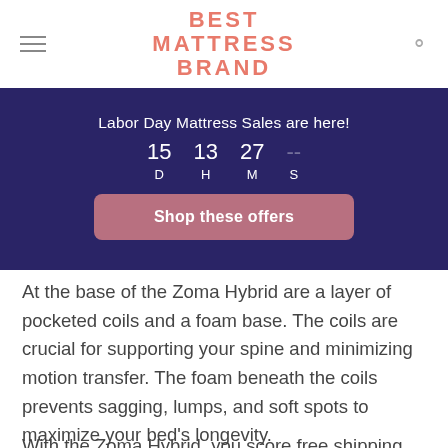BEST MATTRESS BRAND
Labor Day Mattress Sales are here! 15 D  13 H  27 M  S  Shop these offers
At the base of the Zoma Hybrid are a layer of pocketed coils and a foam base. The coils are crucial for supporting your spine and minimizing motion transfer. The foam beneath the coils prevents sagging, lumps, and soft spots to maximize your bed's longevity.
With the Zoma Hybrid, you score free shipping and